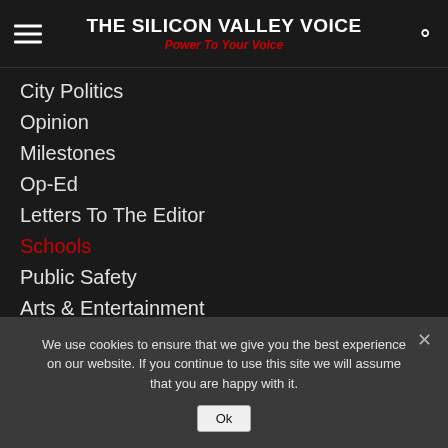THE SILICON VALLEY VOICE — Power To Your Voice
City Politics
Opinion
Milestones
Op-Ed
Letters To The Editor
Schools
Public Safety
Arts & Entertainment
Sports
Business & Tech
Life Announcements
We use cookies to ensure that we give you the best experience on our website. If you continue to use this site we will assume that you are happy with it.